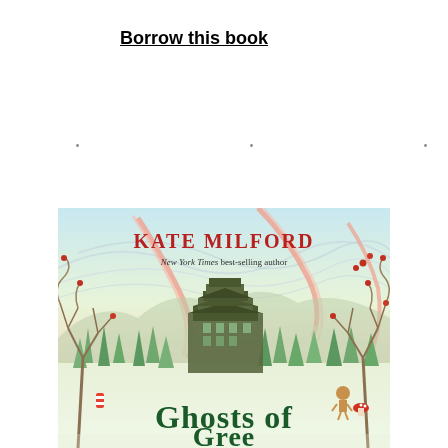Borrow this book
· · ·
[Figure (illustration): Book cover of 'Ghosts of Greenglass House' by Kate Milford, New York Times best-selling author. The cover features a whimsical illustrated scene with a large building in a snowy forest, surrounded by bare twisting trees with berries, ribbon-like swirls in the sky, and text showing the author name in red and the book title 'Ghosts of' in dark green at the bottom.]